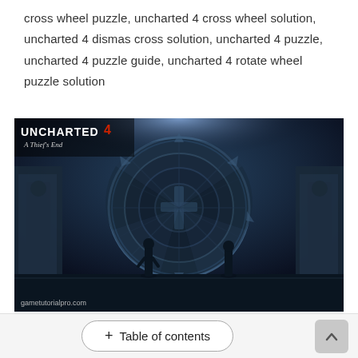cross wheel puzzle, uncharted 4 cross wheel solution, uncharted 4 dismas cross solution, uncharted 4 puzzle, uncharted 4 puzzle guide, uncharted 4 rotate wheel puzzle solution
[Figure (screenshot): Screenshot from Uncharted 4: A Thief's End showing two characters standing in front of a large circular stone wheel puzzle mechanism in a dark blue-lit ancient chamber. The game logo 'UNCHARTED 4 A Thief's End' appears in the top left corner. The watermark 'gametutorialpro.com' appears in the bottom left.]
+ Table of contents